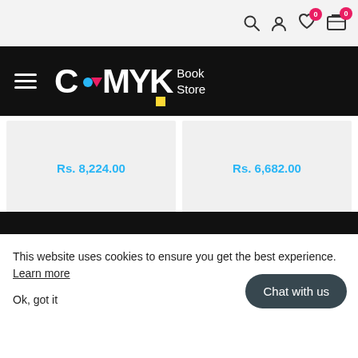[Figure (screenshot): CMYK Book Store website header with navigation bar showing hamburger menu, CMYK logo with colorful accents, and top bar with search, user, wishlist (0), and cart (0) icons]
Rs. 8,224.00
Rs. 6,682.00
This website uses cookies to ensure you get the best experience. Learn more
Ok, got it
Chat with us